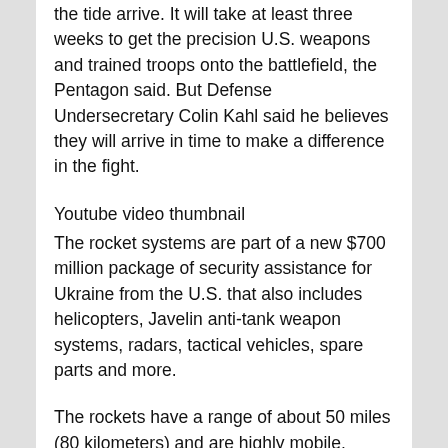the tide arrive. It will take at least three weeks to get the precision U.S. weapons and trained troops onto the battlefield, the Pentagon said. But Defense Undersecretary Colin Kahl said he believes they will arrive in time to make a difference in the fight.
Youtube video thumbnail
The rocket systems are part of a new $700 million package of security assistance for Ukraine from the U.S. that also includes helicopters, Javelin anti-tank weapon systems, radars, tactical vehicles, spare parts and more.
The rockets have a range of about 50 miles (80 kilometers) and are highly mobile. Ukraine had pushed unsuccessfully for rockets with a range